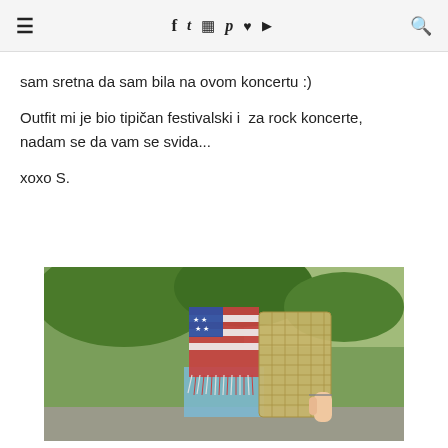≡  f  𝕥  📷  𝕡  ♥  ▶  🔍
sam sretna da sam bila na ovom koncertu :)
Outfit mi je bio tipičan festivalski i  za rock koncerte, nadam se da vam se svida...
xoxo S.
[Figure (photo): Close-up photo of a person wearing a fringed American flag top with stars and stripes, denim shorts, and holding a woven straw bag, outdoors with green trees in background.]